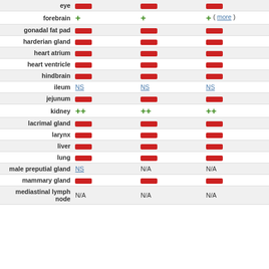| Tissue | Col1 | Col2 | Col3 |
| --- | --- | --- | --- |
| eye | — | — | — |
| forebrain | + | + | + (more) |
| gonadal fat pad | — | — | — |
| harderian gland | — | — | — |
| heart atrium | — | — | — |
| heart ventricle | — | — | — |
| hindbrain | — | — | — |
| ileum | NS | NS | NS |
| jejunum | — | — | — |
| kidney | ++ | ++ | ++ |
| lacrimal gland | — | — | — |
| larynx | — | — | — |
| liver | — | — | — |
| lung | — | — | — |
| male preputial gland | NS | N/A | N/A |
| mammary gland | — | — | — |
| mediastinal lymph node | N/A | N/A | N/A |